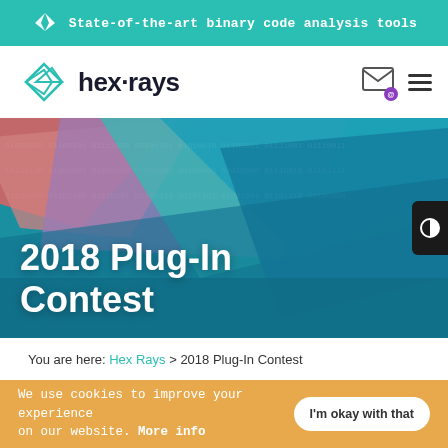State-of-the-art binary code analysis tools
[Figure (logo): Hex-Rays logo with teal arrow/diamond icon and bold hex-rays text]
[Figure (illustration): 2018 Plug-In Contest hero banner with layered geometric shapes in teal, blue, purple, pink, and red tones]
2018 Plug-In Contest
You are here: Hex Rays > 2018 Plug-In Contest
We use cookies to improve your experience on our website. More info